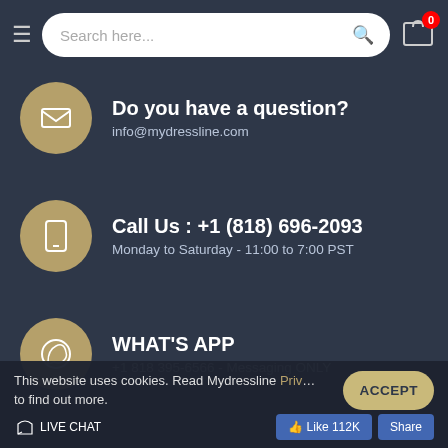Search here...
Do you have a question?
info@mydressline.com
Call Us : +1 (818) 696-2093
Monday to Saturday - 11:00 to 7:00 PST
WHAT'S APP
+1 818 395-6566 - Messaging ONLY
This website uses cookies. Read Mydressline Priv... to find out more.
ACCEPT
LIVE CHAT
Like 112K   Share